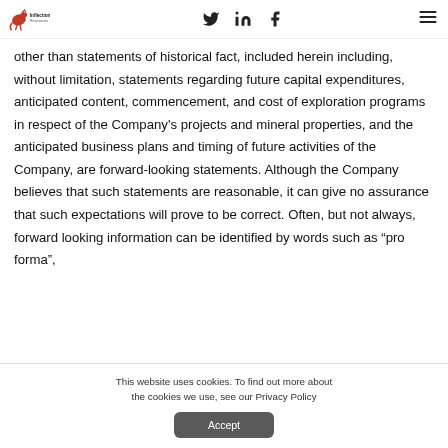Inflection Resources | Twitter | LinkedIn | Facebook | menu
other than statements of historical fact, included herein including, without limitation, statements regarding future capital expenditures, anticipated content, commencement, and cost of exploration programs in respect of the Company's projects and mineral properties, and the anticipated business plans and timing of future activities of the Company, are forward-looking statements. Although the Company believes that such statements are reasonable, it can give no assurance that such expectations will prove to be correct. Often, but not always, forward looking information can be identified by words such as “pro forma”,
This website uses cookies. To find out more about the cookies we use, see our Privacy Policy
Accept